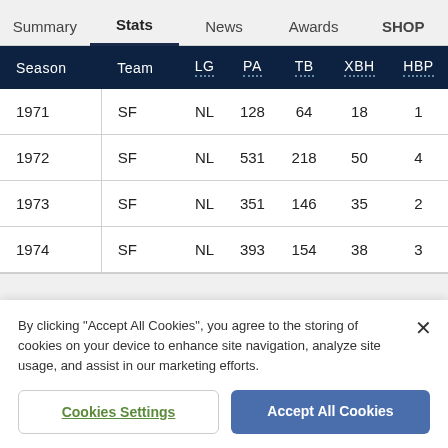Summary | Stats | News | Awards | SHOP
| Season | Team | LG | PA | TB | XBH | HBP |
| --- | --- | --- | --- | --- | --- | --- |
| 1971 | SF | NL | 128 | 64 | 18 | 1 |
| 1972 | SF | NL | 531 | 218 | 50 | 4 |
| 1973 | SF | NL | 351 | 146 | 35 | 2 |
| 1974 | SF | NL | 393 | 154 | 38 | 3 |
By clicking "Accept All Cookies", you agree to the storing of cookies on your device to enhance site navigation, analyze site usage, and assist in our marketing efforts.
Cookies Settings
Accept All Cookies